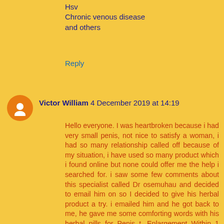Hsv
Chronic venous disease
and others
Reply
Victor William  4 December 2019 at 14:19
Hello everyone. I was heartbroken because i had very small penis, not nice to satisfy a woman, i had so many relationship called off because of my situation, i have used so many product which i found online but none could offer me the help i searched for. i saw some few comments about this specialist called Dr osemuhau and decided to email him on so I decided to give his herbal product a try. i emailed him and he got back to me, he gave me some comforting words with his herbal pills for Penis t, Enlargement Within 1 week of it, i began to feel the enlargement of my penis, " and now it just 2 weeks of using his products my penis is about 9 inches longer and am so happy..feel free to contact Dr osemuhau on(drosemuhau@gmail.com) him this number +2348168714427